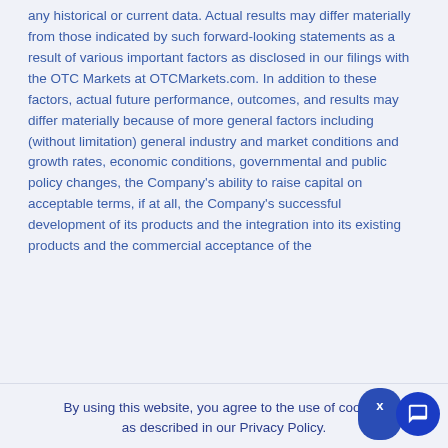any historical or current data. Actual results may differ materially from those indicated by such forward-looking statements as a result of various important factors as disclosed in our filings with the OTC Markets at OTCMarkets.com. In addition to these factors, actual future performance, outcomes, and results may differ materially because of more general factors including (without limitation) general industry and market conditions and growth rates, economic conditions, governmental and public policy changes, the Company's ability to raise capital on acceptable terms, if at all, the Company's successful development of its products and the integration into its existing products and the commercial acceptance of the
By using this website, you agree to the use of cookies as described in our Privacy Policy.